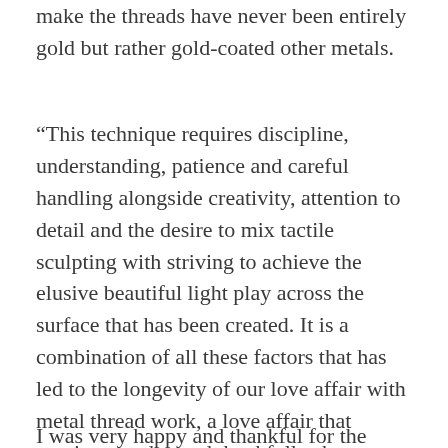make the threads have never been entirely gold but rather gold-coated other metals.
“This technique requires discipline, understanding, patience and careful handling alongside creativity, attention to detail and the desire to mix tactile sculpting with striving to achieve the elusive beautiful light play across the surface that has been created. It is a combination of all these factors that has led to the longevity of our love affair with metal thread work, a love affair that continues today and thankfully shows no signs of abating. It seems that we are still enthralled by the splendour of gold both on a primitive instinctual level and from purely aesthetic perspective.” (RSN Book of Embroidery)
I was very happy and thankful for the opportunity